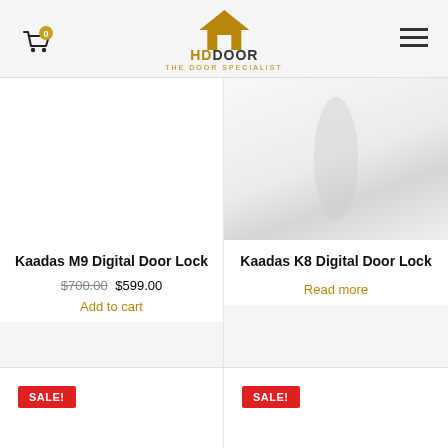HD DOOR - THE DOOR SPECIALIST
[Figure (screenshot): E-commerce product listing page for HD DOOR showing two digital door lock products. Left: Kaadas M9 Digital Door Lock priced at $599.00 (originally $700.00) with Add to cart link. Right: Kaadas K8 Digital Door Lock with Read more link. Below are two more products with SALE! badges.]
Kaadas M9 Digital Door Lock
$700.00 $599.00
Add to cart
Kaadas K8 Digital Door Lock
Read more
SALE!
SALE!